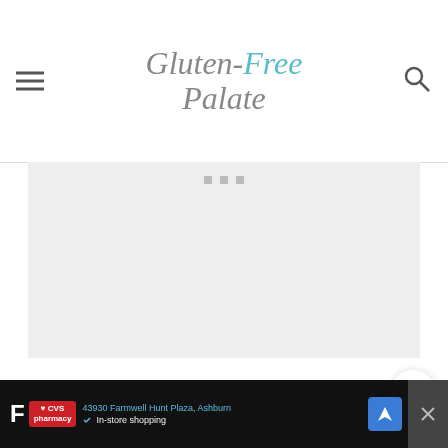Gluten-Free Palate
[Figure (screenshot): Advertisement placeholder area with gray background and three small gray square dots at top center]
WHY DID MY CUPCAKES EXPLODE?
[Figure (screenshot): CVS Pharmacy advertisement banner at bottom showing address 43930 Farmwell Hunt Plaza, Ashburn, In-store shopping, navigation arrow, and close button]